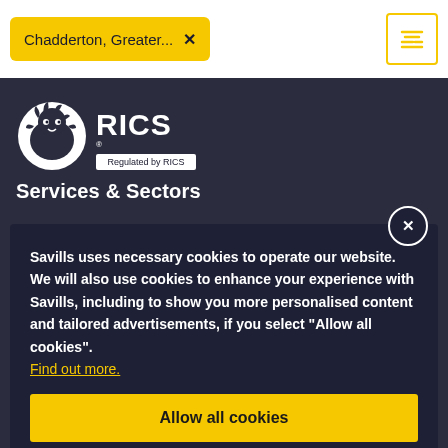Chadderton, Greater... ×
[Figure (logo): RICS lion logo with text 'RICS Regulated by RICS']
Services & Sectors
Savills uses necessary cookies to operate our website. We will also use cookies to enhance your experience with Savills, including to show you more personalised content and tailored advertisements, if you select "Allow all cookies". Find out more.
Allow all cookies
Letting or Renting   Hotels